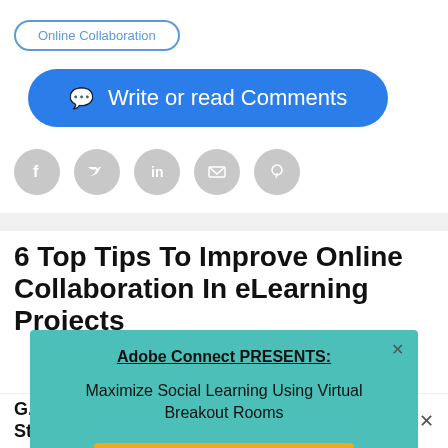Online Collaboration
Write or read Comments
[Figure (other): Social share icons: Facebook, Twitter, LinkedIn, Email, Pinterest]
6 Top Tips To Improve Online Collaboration In eLearning Projects
Adobe Connect PRESENTS:
Maximize Social Learning Using Virtual Breakout Rooms
REGISTER NOW!
G... St...